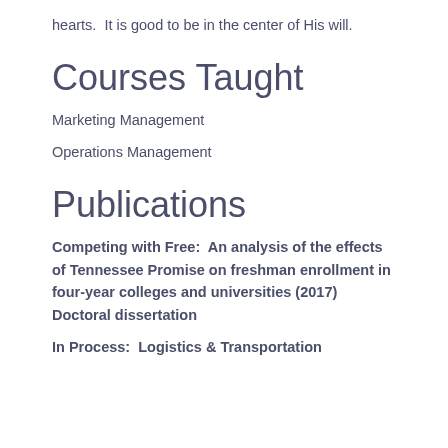hearts.  It is good to be in the center of His will.
Courses Taught
Marketing Management
Operations Management
Publications
Competing with Free:  An analysis of the effects of Tennessee Promise on freshman enrollment in four-year colleges and universities (2017) Doctoral dissertation
In Process:  Logistics & Transportation